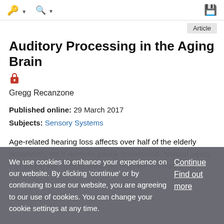🔑 ▾   🔍 ▾   💾
Auditory Processing in the Aging Brain
Gregg Recanzone
Published online: 29 March 2017
Subjects: Sensory Systems
Age-related hearing loss affects over half of the elderly population, yet it remains poorly understood. Natural aging can cause the input to the brain from the cochlea to be
We use cookies to enhance your experience on our website. By clicking 'continue' or by continuing to use our website, you are agreeing to our use of cookies. You can change your cookie settings at any time.